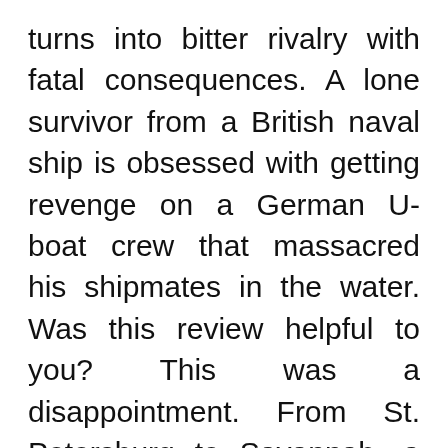turns into bitter rivalry with fatal consequences. A lone survivor from a British naval ship is obsessed with getting revenge on a German U-boat crew that massacred his shipmates in the water. Was this review helpful to you? This was a disappointment. From St. Petersburg to Savannah, a group of southern guys and gals spend their summers funneling beers, sharing laughs and getting into all sorts of down-home shenanigans. He wants to know why his mother was killed in the